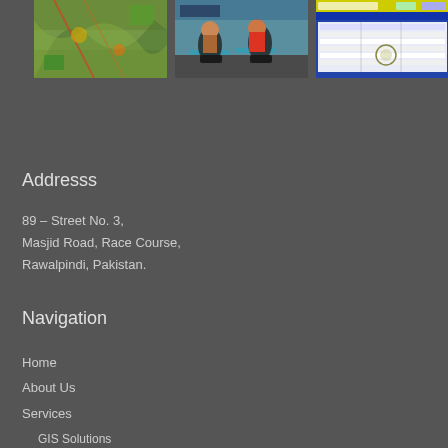[Figure (photo): Aerial/satellite map view with colorful terrain]
[Figure (photo): Office scene with people working at computers]
[Figure (screenshot): Software or database screen in Urdu/Arabic script with a table]
Addresss
89 – Street No. 3,
Masjid Road, Race Course,
Rawalpindi, Pakistan.
Navigation
Home
About Us
Services
GIS Solutions